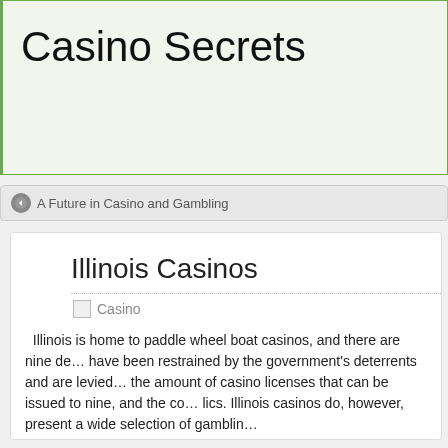Casino Secrets
A Future in Casino and Gambling
Illinois Casinos
Casino
Illinois is home to paddle wheel boat casinos, and there are nine de… have been restrained by the government's deterrents and are levied… the amount of casino licenses that can be issued to nine, and the co… lics. Illinois casinos do, however, present a wide selection of gamblin…
Illinois was the fifth commonwealth allowed into to the US on Dec 3r…